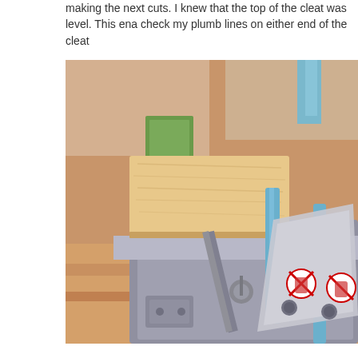making the next cuts. I knew that the top of the cleat was level. This ena check my plumb lines on either end of the cleat
[Figure (photo): A miter saw with a piece of wood (cleat) positioned on the saw bed, showing the saw mechanism with blue guide rails and safety warning stickers.]
The finished piece, after making the cuts along the plumb line marks.
[Figure (photo): A close-up photo of a miter saw with the finished cut piece of wood resting on the saw bed.]